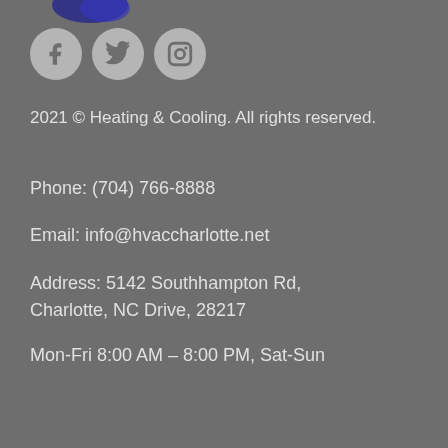[Figure (logo): Partial logo with blue graphic at top]
[Figure (other): Social media icons: Facebook, Twitter, Instagram — grey circles with icons]
2021 © Heating & Cooling. All rights reserved.
Phone: (704) 766-8888
Email: info@hvaccharlotte.net
Address: 5142 Southhampton Rd, Charlotte, NC Drive, 28217
Mon-Fri 8:00 AM – 8:00 PM, Sat-Sun